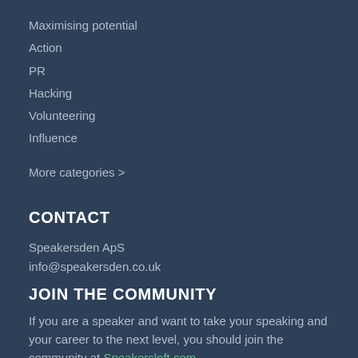Maximising potential
Action
PR
Hacking
Volunteering
Influence
More categories >
CONTACT
Speakersden ApS
info@speakersden.co.uk
JOIN THE COMMUNITY
If you are a speaker and want to take your speaking and your career to the next level, you should join the community at Speakersloft.com.
Get access to unique resources, a valuable network and most importantly - a family of speakers, that will keep you going till you own the worlds event stages.